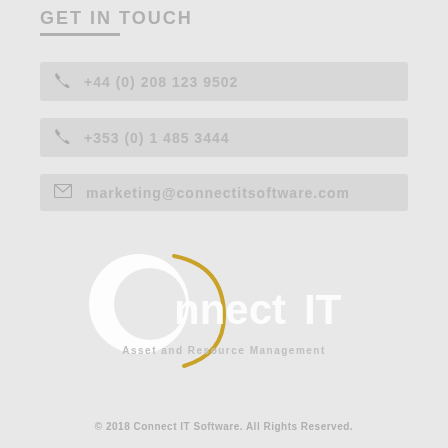GET IN TOUCH
+44 (0) 208 123 9502
+353 (0) 1 485 3444
marketing@connectitsoftware.com
[Figure (logo): Connect IT Asset and Resource Management logo — white C circle with gold crescent accent, white text 'Connect IT' and tagline 'Asset and Resource Management']
© 2018 Connect IT Software. All Rights Reserved.